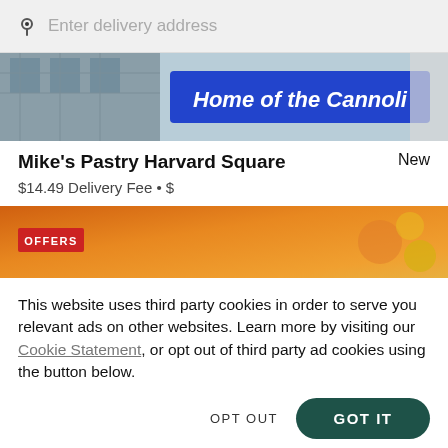Enter delivery address
[Figure (photo): Restaurant storefront image with a blue sign reading 'Home of the Cannoli']
Mike's Pastry Harvard Square
New
$14.49 Delivery Fee • $
[Figure (photo): Offers banner with orange background and a red 'OFFERS' tag]
This website uses third party cookies in order to serve you relevant ads on other websites. Learn more by visiting our Cookie Statement, or opt out of third party ad cookies using the button below.
OPT OUT
GOT IT